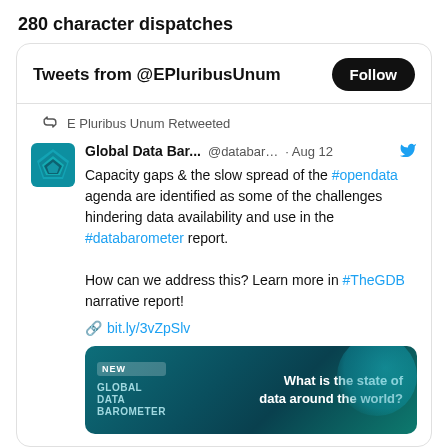280 character dispatches
Tweets from @EPluribusUnum
E Pluribus Unum Retweeted
Global Data Bar... @databar... · Aug 12
Capacity gaps & the slow spread of the #opendata agenda are identified as some of the challenges hindering data availability and use in the #databarometer report.

How can we address this? Learn more in #TheGDB narrative report!

bit.ly/3vZpSlv
[Figure (screenshot): Preview image of Global Data Barometer report with text 'What is the state of data around the world?']